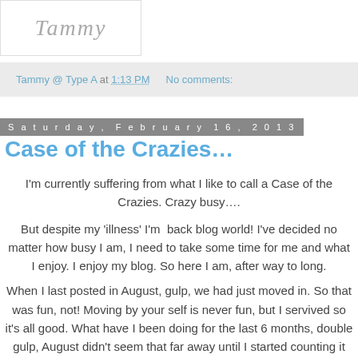[Figure (logo): Partially visible cursive/script logo text in gray]
Tammy @ Type A at 1:13 PM   No comments:
Saturday, February 16, 2013
Case of the Crazies…
I'm currently suffering from what I like to call a Case of the Crazies.  Crazy busy….
But despite my 'illness' I'm  back blog world!  I've decided no matter how busy I am, I need to take some time for me and what I enjoy.  I enjoy my blog.  So here I am, after way to long.
When I last posted in August, gulp, we had just moved in.  So that was fun, not!  Moving by your self is never fun, but I servived so it's all good.  What have I been doing for the last 6 months, double gulp, August didn't seem that far away until I started counting it on my fingers.